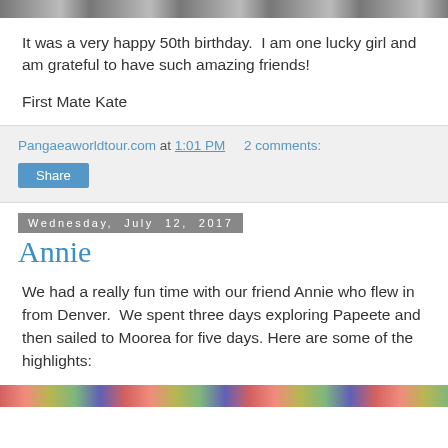[Figure (photo): Partial photo strip at top of page, cropped]
It was a very happy 50th birthday.  I am one lucky girl and am grateful to have such amazing friends!
First Mate Kate
Pangaeaworldtour.com at 1:01 PM    2 comments:
Share
Wednesday, July 12, 2017
Annie
We had a really fun time with our friend Annie who flew in from Denver.  We spent three days exploring Papeete and then sailed to Moorea for five days. Here are some of the highlights:
[Figure (photo): Partial photo strip at bottom of page, cropped]